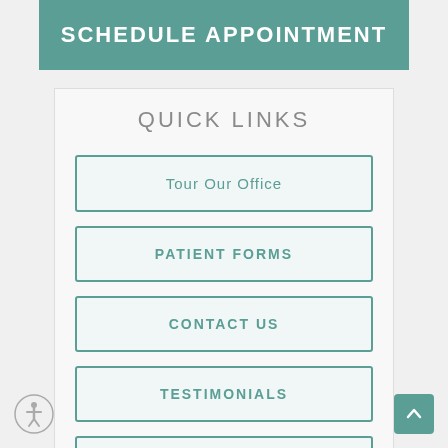SCHEDULE APPOINTMENT
QUICK LINKS
Tour Our Office
PATIENT FORMS
CONTACT US
TESTIMONIALS
LEAVE A REVIEW